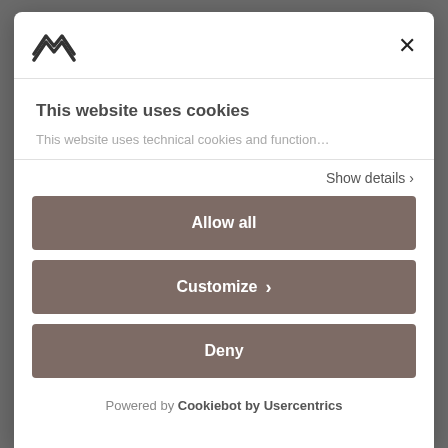[Figure (logo): Angular/mountain-shaped logo icon in dark color]
×
This website uses cookies
This website uses technical cookies and function…
Show details ›
Allow all
Customize ›
Deny
Powered by Cookiebot by Usercentrics